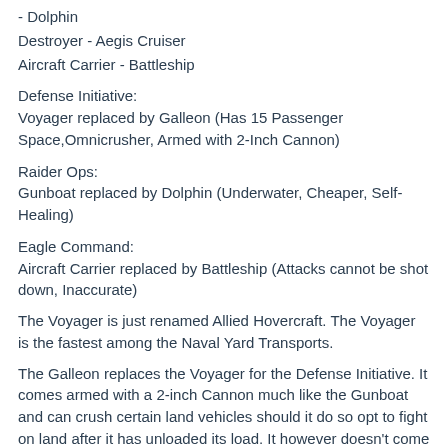- Dolphin
Destroyer - Aegis Cruiser
Aircraft Carrier - Battleship
Defense Initiative:
Voyager replaced by Galleon (Has 15 Passenger Space,Omnicrusher, Armed with 2-Inch Cannon)
Raider Ops:
Gunboat replaced by Dolphin (Underwater, Cheaper, Self-Healing)
Eagle Command:
Aircraft Carrier replaced by Battleship (Attacks cannot be shot down, Inaccurate)
The Voyager is just renamed Allied Hovercraft. The Voyager is the fastest among the Naval Yard Transports.
The Galleon replaces the Voyager for the Defense Initiative. It comes armed with a 2-inch Cannon much like the Gunboat and can crush certain land vehicles should it do so opt to fight on land after it has unloaded its load. It however doesn't come with Naval Sensors so Gunboats or Destroyers are still usually a must for escorts.